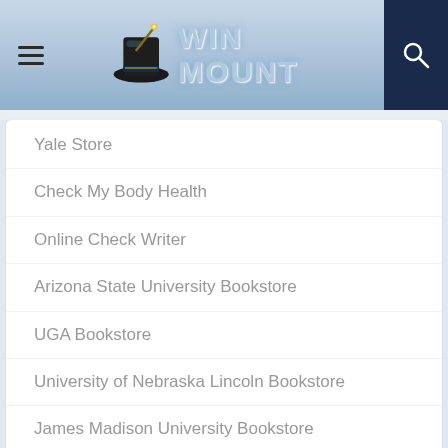[Figure (logo): WinMount website header with hamburger menu on left, WinMount logo (top hat with wand and text) in center, search icon on right dark navy background]
Yale Store
Check My Body Health
Online Check Writer
Arizona State University Bookstore
UGA Bookstore
University of Nebraska Lincoln Bookstore
James Madison University Bookstore
Jean Scene
eFax UK
Related Stores
UGA Bookstore